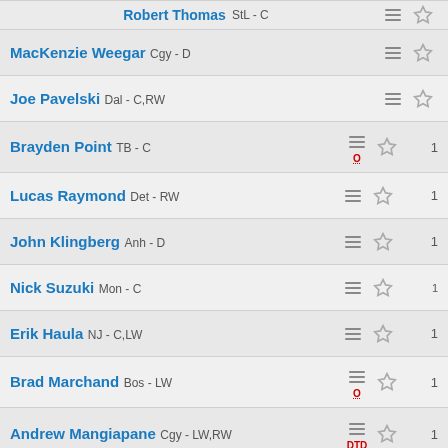Robert Thomas StL - C
MacKenzie Weegar Cgy - D
Joe Pavelski Dal - C,RW
Brayden Point TB - C, status: O
Lucas Raymond Det - RW
John Klingberg Anh - D
Nick Suzuki Mon - C
Erik Haula NJ - C,LW
Brad Marchand Bos - LW, status: O
Andrew Mangiapane Cgy - LW,RW, status: DTD
Tyler Seguin Dal - C,RW